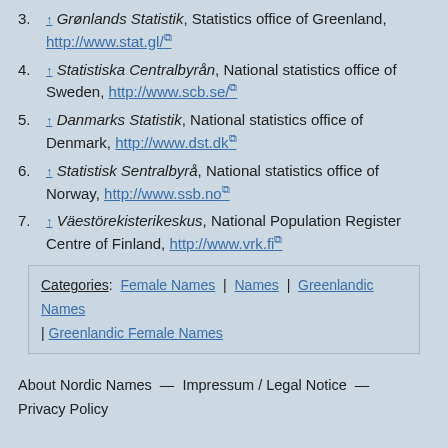3. ↑ Grønlands Statistik, Statistics office of Greenland, http://www.stat.gl/
4. ↑ Statistiska Centralbyrån, National statistics office of Sweden, http://www.scb.se/
5. ↑ Danmarks Statistik, National statistics office of Denmark, http://www.dst.dk
6. ↑ Statistisk Sentralbyrå, National statistics office of Norway, http://www.ssb.no
7. ↑ Väestörekisterikeskus, National Population Register Centre of Finland, http://www.vrk.fi
Categories: Female Names | Names | Greenlandic Names | Greenlandic Female Names
About Nordic Names — Impressum / Legal Notice — Privacy Policy